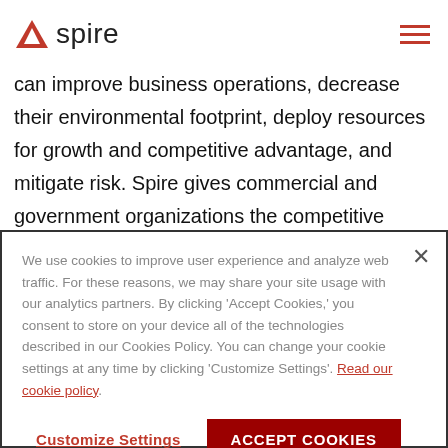Spire
can improve business operations, decrease their environmental footprint, deploy resources for growth and competitive advantage, and mitigate risk. Spire gives commercial and government organizations the competitive advantage they seek to innovate and solve some of the world's toughest problems with insights from space. Spire has offices in San Francisco,
We use cookies to improve user experience and analyze web traffic. For these reasons, we may share your site usage with our analytics partners. By clicking 'Accept Cookies,' you consent to store on your device all of the technologies described in our Cookies Policy. You can change your cookie settings at any time by clicking 'Customize Settings'. Read our cookie policy.